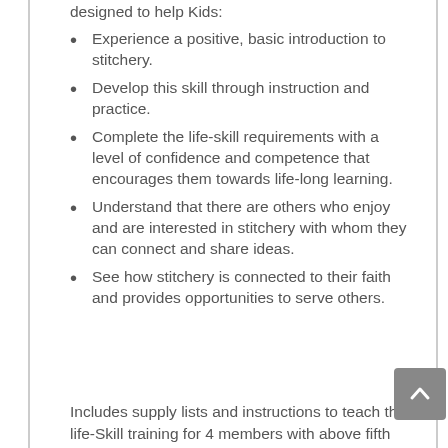designed to help Kids:
Experience a positive, basic introduction to stitchery.
Develop this skill through instruction and practice.
Complete the life-skill requirements with a level of confidence and competence that encourages them towards life-long learning.
Understand that there are others who enjoy and are interested in stitchery with whom they can connect and share ideas.
See how stitchery is connected to their faith and provides opportunities to serve others.
Includes supply lists and instructions to teach the life-Skill training for 4 members with above fifth